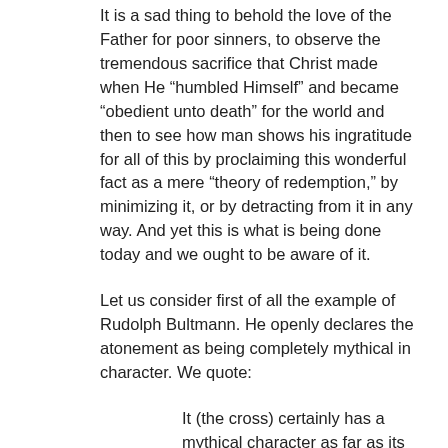It is a sad thing to behold the love of the Father for poor sinners, to observe the tremendous sacrifice that Christ made when He “humbled Himself” and became “obedient unto death” for the world and then to see how man shows his ingratitude for all of this by proclaiming this wonderful fact as a mere “theory of redemption,” by minimizing it, or by detracting from it in any way. And yet this is what is being done today and we ought to be aware of it.
Let us consider first of all the example of Rudolph Bultmann. He openly declares the atonement as being completely mythical in character. We quote:
It (the cross) certainly has a mythical character as far as its objective setting is concerned. The Jesus who was crucified was the pre-existent, incarnate Son of God, and as such he was without sin. He is the victim whose blood atones for our sins. He bears vicariously the sin of the world, and by enduring the